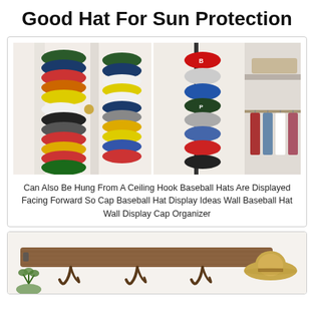Good Hat For Sun Protection
[Figure (photo): Left: colorful baseball caps hung on a white door in two vertical columns. Right: baseball caps stacked vertically on a door-mounted organizer rod, with a closet showing hanging clothes on the right side.]
Can Also Be Hung From A Ceiling Hook Baseball Hats Are Displayed Facing Forward So Cap Baseball Hat Display Ideas Wall Baseball Hat Wall Display Cap Organizer
[Figure (photo): A rustic wooden plank hat rack with iron hooks mounted on a white wall, with a straw hat hanging on the right side and green plants at the lower left.]